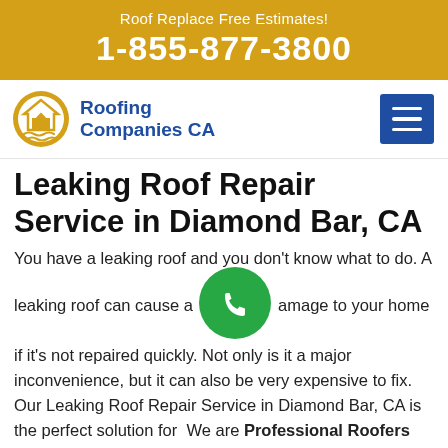Roof Replace Free Estimates!
1-855-877-3800
[Figure (logo): Roofing Companies CA logo with house icon and wavy lines]
Leaking Roof Repair Service in Diamond Bar, CA
You have a leaking roof and you don't know what to do. A leaking roof can cause a lot of damage to your home if it's not repaired quickly. Not only is it a major inconvenience, but it can also be very expensive to fix. Our Leaking Roof Repair Service in Diamond Bar, CA is the perfect solution for We are Professional Roofers who use the highest standard of craftsmanship to repair your